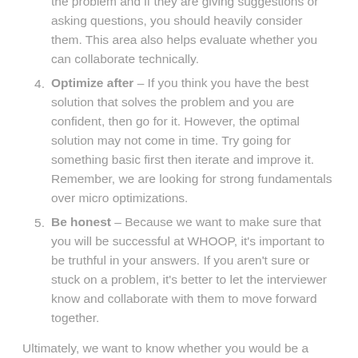the problem and if they are giving suggestions or asking questions, you should heavily consider them. This area also helps evaluate whether you can collaborate technically.
Optimize after – If you think you have the best solution that solves the problem and you are confident, then go for it. However, the optimal solution may not come in time. Try going for something basic first then iterate and improve it. Remember, we are looking for strong fundamentals over micro optimizations.
Be honest – Because we want to make sure that you will be successful at WHOOP, it's important to be truthful in your answers. If you aren't sure or stuck on a problem, it's better to let the interviewer know and collaborate with them to move forward together.
Ultimately, we want to know whether you would be a